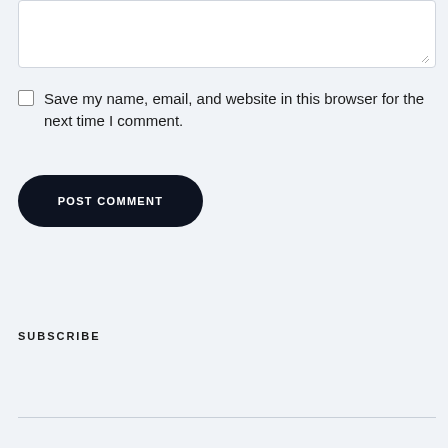[Figure (screenshot): Textarea input box with resize handle in bottom-right corner]
Save my name, email, and website in this browser for the next time I comment.
POST COMMENT
SUBSCRIBE